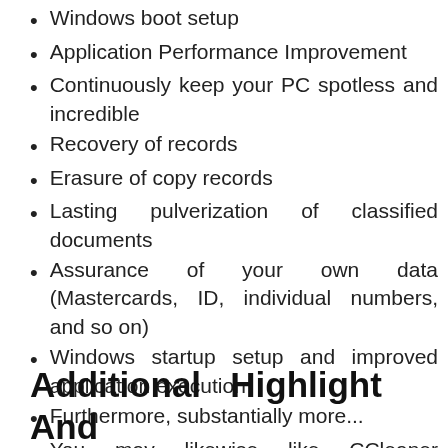Windows boot setup
Application Performance Improvement
Continuously keep your PC spotless and incredible
Recovery of records
Erasure of copy records
Lasting pulverization of classified documents
Assurance of your own data (Mastercards, ID, individual numbers, and so on)
Windows startup setup and improved application execution
Furthermore, substantially more...
You may likewise like CCleaner Professional Key
Additional   Highlight   And